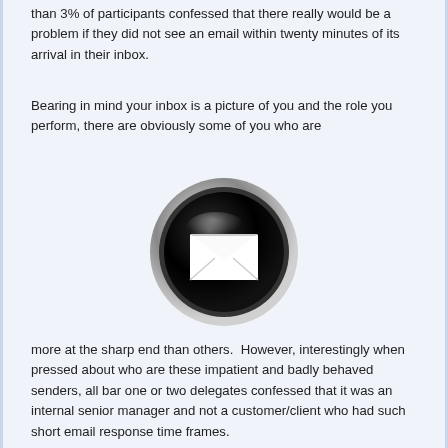than 3% of participants confessed that there really would be a problem if they did not see an email within twenty minutes of its arrival in their inbox.
Bearing in mind your inbox is a picture of you and the role you perform, there are obviously some of you who are
[Figure (illustration): A circular black glossy button with a metallic silver/chrome ring border, featuring a white envelope/email icon in the center on a black background.]
more at the sharp end than others.  However, interestingly when pressed about who are these impatient and badly behaved senders, all bar one or two delegates confessed that it was an internal senior manager and not a customer/client who had such short email response time frames.